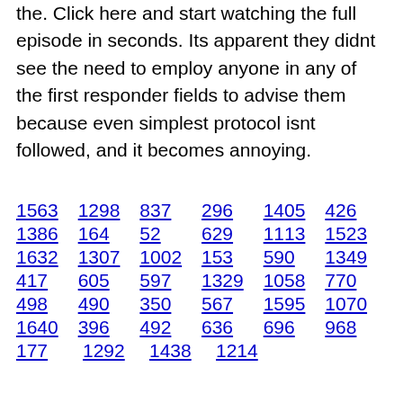the. Click here and start watching the full episode in seconds. Its apparent they didnt see the need to employ anyone in any of the first responder fields to advise them because even simplest protocol isnt followed, and it becomes annoying.
1563  1298  837  296  1405  426
1386  164  52  629  1113  1523
1632  1307  1002  153  590  1349
417  605  597  1329  1058  770
498  490  350  567  1595  1070
1640  396  492  636  696  968
177  1292  1438  1214